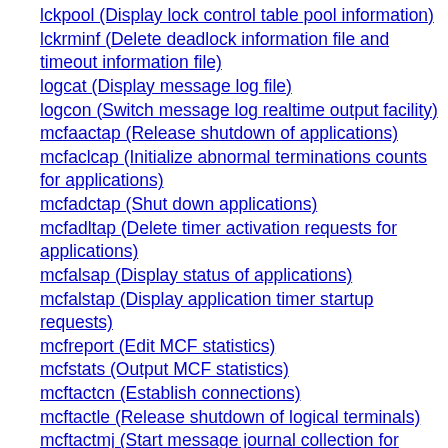lckpool (Display lock control table pool information)
lckrminf (Delete deadlock information file and timeout information file)
logcat (Display message log file)
logcon (Switch message log realtime output facility)
mcfaactap (Release shutdown of applications)
mcfaclcap (Initialize abnormal terminations counts for applications)
mcfadctap (Shut down applications)
mcfadltap (Delete timer activation requests for applications)
mcfalsap (Display status of applications)
mcfalstap (Display application timer startup requests)
mcfreport (Edit MCF statistics)
mcfstats (Output MCF statistics)
mcftactcn (Establish connections)
mcftactle (Release shutdown of logical terminals)
mcftactmj (Start message journal collection for logical terminals)
mcftactsg (Release service groups from shutdown)